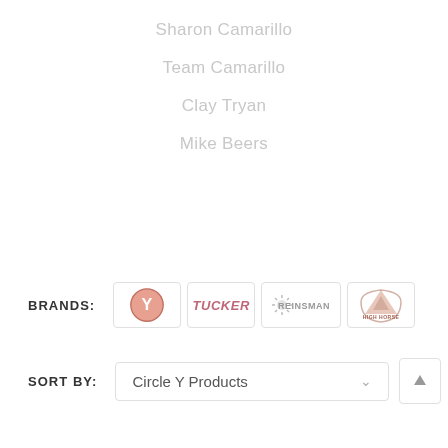Sharon Camarillo
Team Camarillo
Clay Tryan
Mike Beers
BRANDS:
[Figure (logo): Circle Y brand logo - circular Y symbol]
[Figure (logo): Tucker brand logo text]
[Figure (logo): Reinsman brand logo with spinner]
[Figure (logo): High Horse brand logo with mountain]
SORT BY:
Circle Y Products